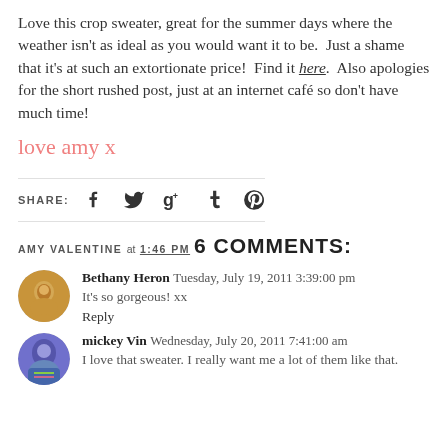Love this crop sweater, great for the summer days where the weather isn't as ideal as you would want it to be.  Just a shame that it's at such an extortionate price!  Find it here.  Also apologies for the short rushed post, just at an internet café so don't have much time!
love amy x
SHARE: [social icons: Facebook, Twitter, Google+, Tumblr, Pinterest]
AMY VALENTINE AT 1:46 PM
6 COMMENTS:
Bethany Heron  Tuesday, July 19, 2011 3:39:00 pm
It's so gorgeous! xx
Reply
mickey Vin  Wednesday, July 20, 2011 7:41:00 am
I love that sweater. I really want me a lot of them like that.